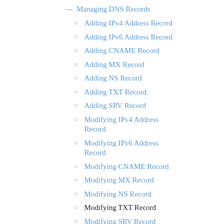Managing DNS Records
Adding IPv4 Address Record
Adding IPv6 Address Record
Adding CNAME Record
Adding MX Record
Adding NS Record
Adding TXT Record
Adding SRV Record
Modifying IPv4 Address Record
Modifying IPv6 Address Record
Modifying CNAME Record
Modifying MX Record
Modifying NS Record
Modifying TXT Record
Modifying SRV Record
Modifying SOA Record